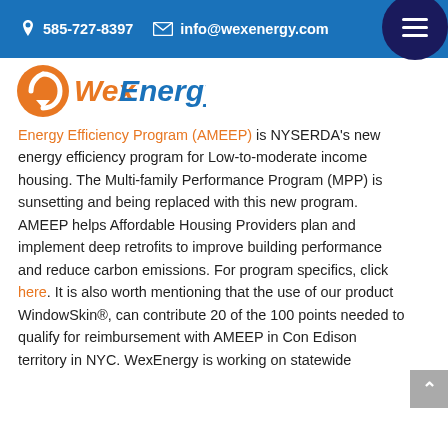585-727-8397   info@wexenergy.com
[Figure (logo): WexEnergy logo with orange circular arrow icon and 'WexEnergy' text in orange and blue italic]
Energy Efficiency Program (AMEEP) is NYSERDA's new energy efficiency program for Low-to-moderate income housing. The Multi-family Performance Program (MPP) is sunsetting and being replaced with this new program. AMEEP helps Affordable Housing Providers plan and implement deep retrofits to improve building performance and reduce carbon emissions. For program specifics, click here. It is also worth mentioning that the use of our product WindowSkin®, can contribute 20 of the 100 points needed to qualify for reimbursement with AMEEP in Con Edison territory in NYC. WexEnergy is working on statewide